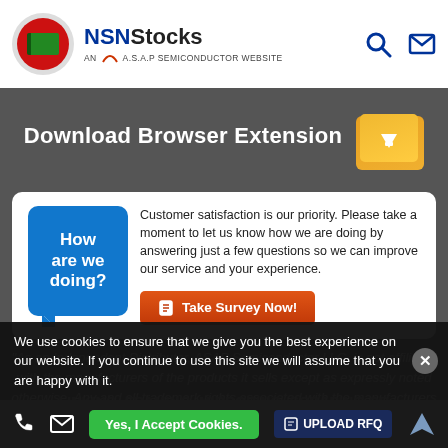NSNStocks — AN A.S.A.P SEMICONDUCTOR WEBSITE
Download Browser Extension
Customer satisfaction is our priority. Please take a moment to let us know how we are doing by answering just a few questions so we can improve our service and your experience.
Take Survey Now!
"As an Independent Distributor, ASAP Semiconductor LLC, is not affiliated with the manufacturers of the products it sells except as expressly noted otherwise. Any and all trademark rights associated with the manufacturers names and products are owned by the respective manufacturers."
LINKING, FRAMING, MIRRORING, SCRAPING OR DATA MINING STRICTLY PROHIBITED
We use cookies to ensure that we give you the best experience on our website. If you continue to use this site we will assume that you are happy with it.
Yes, I Accept Cookies.
UPLOAD RFQ